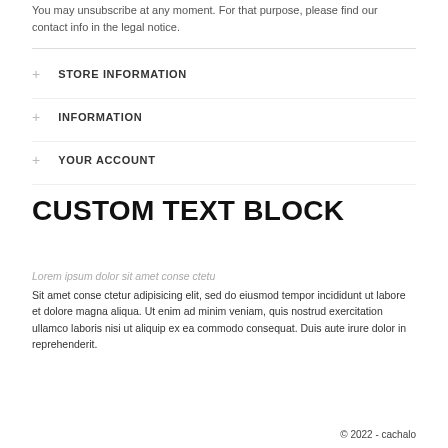You may unsubscribe at any moment. For that purpose, please find our contact info in the legal notice.
+ STORE INFORMATION
+ INFORMATION
+ YOUR ACCOUNT
CUSTOM TEXT BLOCK
Lorem ipsum dolor sit amet conse ctetu
Sit amet conse ctetur adipisicing elit, sed do eiusmod tempor incididunt ut labore et dolore magna aliqua. Ut enim ad minim veniam, quis nostrud exercitation ullamco laboris nisi ut aliquip ex ea commodo consequat. Duis aute irure dolor in reprehenderit.
© 2022 - cachalo